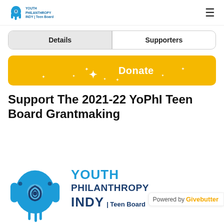Youth Philanthropy Indy Teen Board logo | menu
Details | Supporters
Donate
Support The 2021-22 YoPhI Teen Board Grantmaking
[Figure (logo): Youth Philanthropy Indy Teen Board logo: blue hamsa hand with spiral, with text YOUTH PHILANTHROPY INDY | Teen Board in blue]
Powered by Givebutter